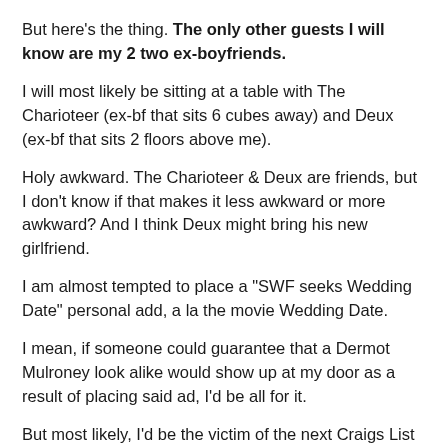But here's the thing. The only other guests I will know are my 2 two ex-boyfriends.
I will most likely be sitting at a table with The Charioteer (ex-bf that sits 6 cubes away) and Deux (ex-bf that sits 2 floors above me).
Holy awkward. The Charioteer & Deux are friends, but I don't know if that makes it less awkward or more awkward? And I think Deux might bring his new girlfriend.
I am almost tempted to place a "SWF seeks Wedding Date" personal add, a la the movie Wedding Date.
I mean, if someone could guarantee that a Dermot Mulroney look alike would show up at my door as a result of placing said ad, I'd be all for it.
But most likely, I'd be the victim of the next Craigs List murderer or something like that.
So I will...